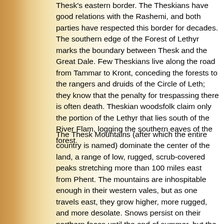Thesk's eastern border. The Theskians have good relations with the Rashemi, and both parties have respected this border for decades. The southern edge of the Forest of Lethyr marks the boundary between Thesk and the Great Dale. Few Theskians live along the road from Tammar to Kront, conceding the forests to the rangers and druids of the Circle of Leth; they know that the penalty for trespassing there is often death. Theskian woodsfolk claim only the portion of the Lethyr that lies south of the River Flam, logging the southern eaves of the forest.
The Thesk Mountains (after which the entire country is named) dominate the center of the land, a range of low, rugged, scrub-covered peaks stretching more than 100 miles east from Phent. The mountains are inhospitable enough in their western vales, but as one travels east, they grow higher, more rugged, and more desolate. Snows persist on their northern faces until the end of summer, but the snow is usually gone by the middle of Eleasis. The sere brown peaks are visible from just about every point in the country, and travelers use them as landmarks.